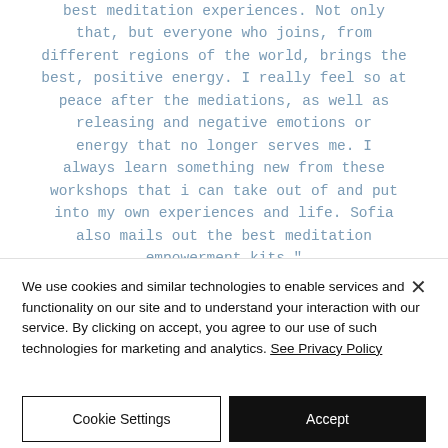best meditation experiences. Not only that, but everyone who joins, from different regions of the world, brings the best, positive energy. I really feel so at peace after the mediations, as well as releasing and negative emotions or energy that no longer serves me. I always learn something new from these workshops that i can take out of and put into my own experiences and life. Sofia also mails out the best meditation empowerment kits."
- Samantha, Tampa FL
We use cookies and similar technologies to enable services and functionality on our site and to understand your interaction with our service. By clicking on accept, you agree to our use of such technologies for marketing and analytics. See Privacy Policy
Cookie Settings
Accept